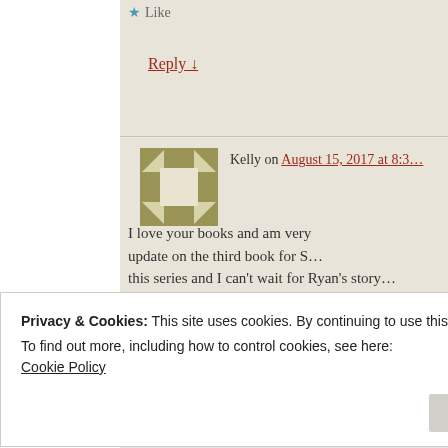★ Like
Reply ↓
Kelly on August 15, 2017 at 8:3…
[Figure (illustration): Mosaic/geometric avatar icon with olive green and white pattern]
I love your books and am very… update on the third book for S… this series and I can't wait for Ryan's story…
★ Liked by 1 person
Privacy & Cookies: This site uses cookies. By continuing to use this website, you agree to their use.
To find out more, including how to control cookies, see here:
Cookie Policy
Close and accept